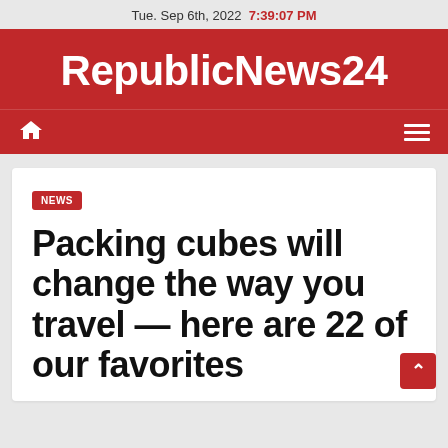Tue. Sep 6th, 2022  7:39:07 PM
RepublicNews24
home menu
NEWS
Packing cubes will change the way you travel — here are 22 of our favorites